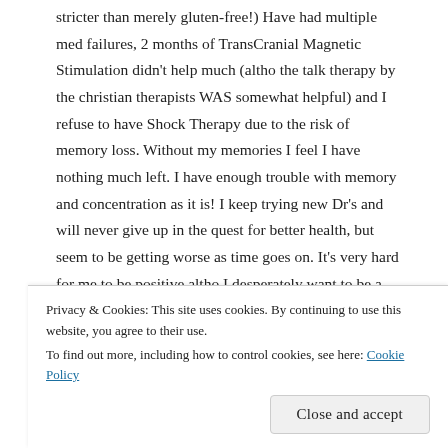stricter than merely gluten-free!) Have had multiple med failures, 2 months of TransCranial Magnetic Stimulation didn't help much (altho the talk therapy by the christian therapists WAS somewhat helpful) and I refuse to have Shock Therapy due to the risk of memory loss. Without my memories I feel I have nothing much left. I have enough trouble with memory and concentration as it is! I keep trying new Dr's and will never give up in the quest for better health, but seem to be getting worse as time goes on. It's very hard for me to be positive altho I desperately want to be a happy, healthy, encouraging person.
★ Like
Privacy & Cookies: This site uses cookies. By continuing to use this website, you agree to their use. To find out more, including how to control cookies, see here: Cookie Policy
Close and accept